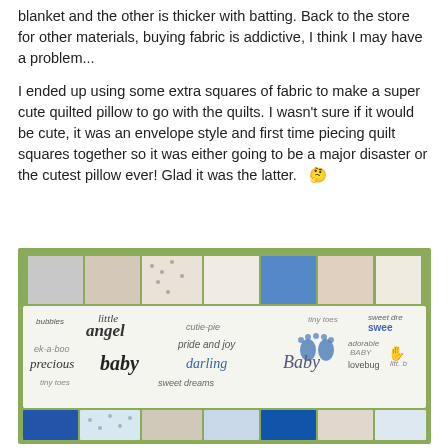blanket and the other is thicker with batting. Back to the store for other materials, buying fabric is addictive, I think I may have a problem...
I ended up using some extra squares of fabric to make a super cute quilted pillow to go with the quilts. I wasn't sure if it would be cute, it was an envelope style and first time piecing quilt squares together so it was either going to be a major disaster or the cutest pillow ever! Glad it was the latter. 🤔
[Figure (photo): Photo of a quilted pillow made from patchwork squares in blue, white, and patterned fabrics. The pillow features baby-themed text fabric with words like 'precious baby', 'little angel', 'darling', 'lovebug', 'tiny toes', 'sweet dreams', 'cutie-pie', 'adorable baby', 'peek-a-boo', 'pride and joy', 'Baby', and footprint/handprint graphics. The pillow is photographed on what appears to a green cutting mat surface.]